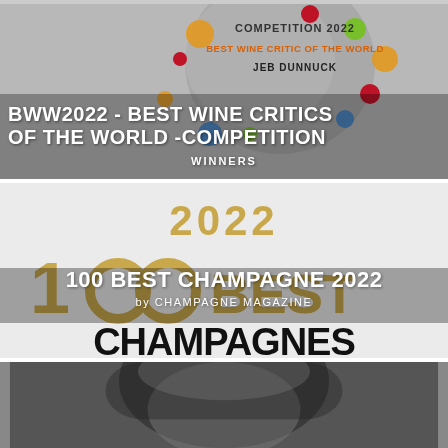[Figure (illustration): BWW2022 Best Wine Critics of the World Competition banner with colorful dots on grey background, featuring text 'COMPETITION 2022 BEST WINE CRITIC OF THE WORLD JEB DUNNUCK' and overlay text 'BWW2022 - BEST WINE CRITICS OF THE WORLD -COMPETITION WINNERS']
[Figure (illustration): 100 Best Champagnes 2022 by Champagne Magazine promotional image with gold '2022' text, large '100 BEST' logo in gold and black, overlay text '100 BEST CHAMPAGNE 2022 by CHAMPAGNE MAGAZINE', and large black 'CHAMPAGNES' text at the bottom]
[Figure (photo): Black and white photograph showing a person, partially visible, cropped at top of frame]